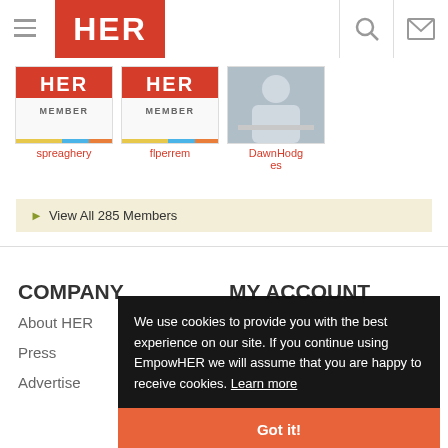[Figure (screenshot): HER website header with hamburger menu, HER logo in red, search and mail icons]
[Figure (photo): Member thumbnails: spreaghery (HER member badge), flperrem (HER member badge), DawnHodges (photo of person at desk)]
► View All 285 Members
COMPANY
MY ACCOUNT
About HER
Press
Advertise
We use cookies to provide you with the best experience on our site. If you continue using EmpowHER we will assume that you are happy to receive cookies. Learn more
Got it!